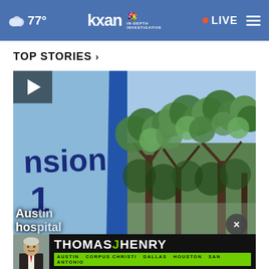77° kxan IN-DEPTH INVESTIGATIVE LIVE
TOP STORIES ›
[Figure (screenshot): Video thumbnail showing split scene: left side a blue sign partially showing 'nsion' and '1', right side green tree foliage against blue sky]
Aus[tin] [children] hos[pital]
[Figure (advertisement): Thomas J Henry law firm advertisement banner with man in suit photo, cities: Austin Corpus Christi Dallas Houston San Antonio]